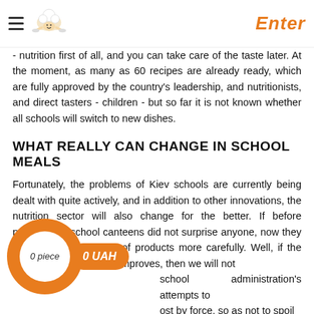Enter
- nutrition first of all, and you can take care of the taste later. At the moment, as many as 60 recipes are already ready, which are fully approved by the country's leadership, and nutritionists, and direct tasters - children - but so far it is not known whether all schools will switch to new dishes.
WHAT REALLY CAN CHANGE IN SCHOOL MEALS
Fortunately, the problems of Kiev schools are currently being dealt with quite actively, and in addition to other innovations, the nutrition sector will also change for the better. If before poisoning in school canteens did not surprise anyone, now they will monitor the quality of products more carefully. Well, if the palatability of food also improves, then we will not ...school administration's attempts to ...ost by force, so as not to spoil ...why half of the school rubbish is intact portions from the school cafeteria. In any case, while these issues are being resolved, you can always